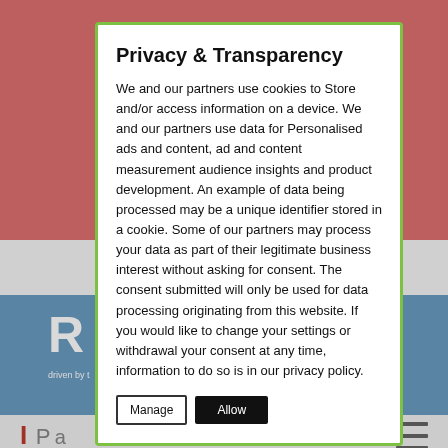[Figure (screenshot): Website background with pink header area, blue banner with logo 'RO' and phone number, and bottom navigation area with hamburger menu]
Privacy & Transparency
We and our partners use cookies to Store and/or access information on a device. We and our partners use data for Personalised ads and content, ad and content measurement audience insights and product development. An example of data being processed may be a unique identifier stored in a cookie. Some of our partners may process your data as part of their legitimate business interest without asking for consent. The consent submitted will only be used for data processing originating from this website. If you would like to change your settings or withdrawal your consent at any time, information to do so is in our privacy policy.